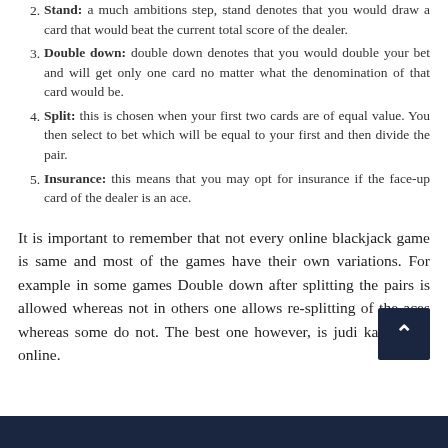Stand: a much ambitions step, stand denotes that you would draw a card that would beat the current total score of the dealer.
Double down: double down denotes that you would double your bet and will get only one card no matter what the denomination of that card would be.
Split: this is chosen when your first two cards are of equal value. You then select to bet which will be equal to your first and then divide the pair.
Insurance: this means that you may opt for insurance if the face-up card of the dealer is an ace.
It is important to remember that not every online blackjack game is same and most of the games have their own variations. For example in some games Double down after splitting the pairs is allowed whereas not in others one allows re-splitting of the aces whereas some do not. The best one however, is judi kartu remi online.